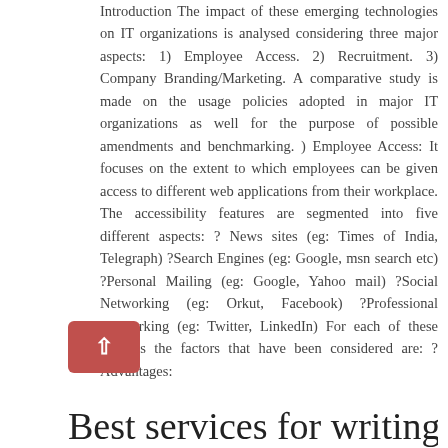Introduction The impact of these emerging technologies on IT organizations is analysed considering three major aspects: 1) Employee Access. 2) Recruitment. 3) Company Branding/Marketing. A comparative study is made on the usage policies adopted in major IT organizations as well for the purpose of possible amendments and benchmarking. ) Employee Access: It focuses on the extent to which employees can be given access to different web applications from their workplace. The accessibility features are segmented into five different aspects: ? News sites (eg: Times of India, Telegraph) ?Search Engines (eg: Google, msn search etc) ?Personal Mailing (eg: Google, Yahoo mail) ?Social Networking (eg: Orkut, Facebook) ?Professional Networking (eg: Twitter, LinkedIn) For each of these features the factors that have been considered are: ? Advantages:
[Figure (other): Red rounded square button with a white upward-pointing chevron/caret arrow (back-to-top button)]
Best services for writing your